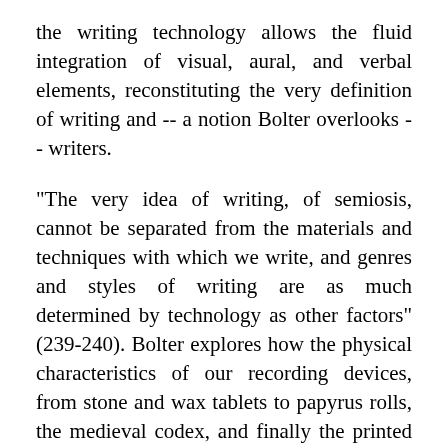the writing technology allows the fluid integration of visual, aural, and verbal elements, reconstituting the very definition of writing and -- a notion Bolter overlooks -- writers.
"The very idea of writing, of semiosis, cannot be separated from the materials and techniques with which we write, and genres and styles of writing are as much determined by technology as other factors" (239-240). Bolter explores how the physical characteristics of our recording devices, from stone and wax tablets to papyrus rolls, the medieval codex, and finally the printed book have "imposed" specific systems for the sequencing and "chunkitizing" (my word) of information. He presents a